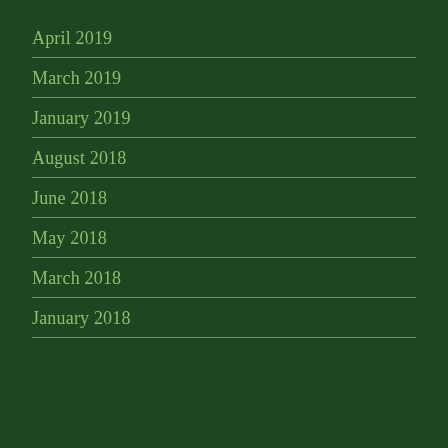April 2019
March 2019
January 2019
August 2018
June 2018
May 2018
March 2018
January 2018